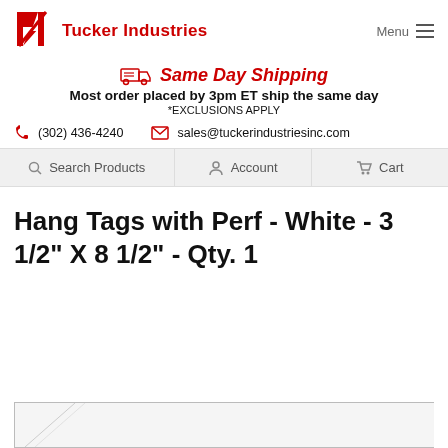Tucker Industries | Menu
Same Day Shipping — Most order placed by 3pm ET ship the same day *EXCLUSIONS APPLY
(302) 436-4240 | sales@tuckerindustriesinc.com
Search Products | Account | Cart
Hang Tags with Perf - White - 3 1/2" X 8 1/2" - Qty. 1
[Figure (photo): Partial product image of a white hang tag at the bottom of the page]